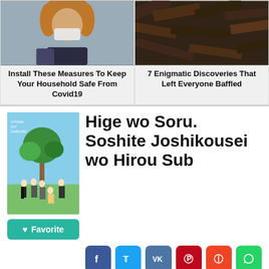[Figure (photo): Woman with curly hair wearing a face mask outdoors]
Install These Measures To Keep Your Household Safe From Covid19
[Figure (photo): Burnt wooden planks or railroad ties from above]
7 Enigmatic Discoveries That Left Everyone Baffled
[Figure (illustration): Anime poster for Hige wo Soru. Soshite Joshikousei wo Hirou Sub showing anime characters under a tree]
Hige wo Soru. Soshite Joshikousei wo Hirou Sub
[Figure (infographic): Social share buttons: Facebook, Twitter, VK, Pinterest, Pocket, WhatsApp]
Watch Hige wo Soru. Soshite Joshikousei wo Hirou Sub full episodes